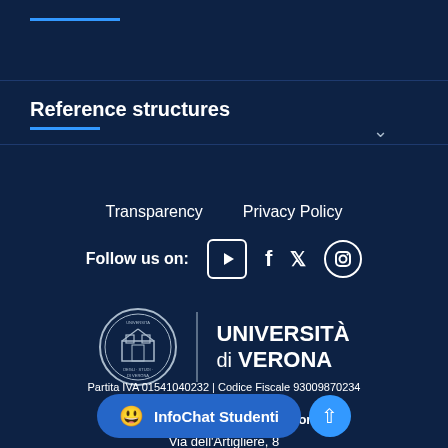Reference structures
Transparency   Privacy Policy
Follow us on:
[Figure (logo): Università di Verona seal/crest logo circle with building illustration and text DEGLI STUDI DI VERONA]
UNIVERSITÀ di VERONA
Università degli Studi di Verona
Via dell'Artigliere, 8
37
Partita IVA 01541040232 | Codice Fiscale 93009870234
InfoChat Studenti